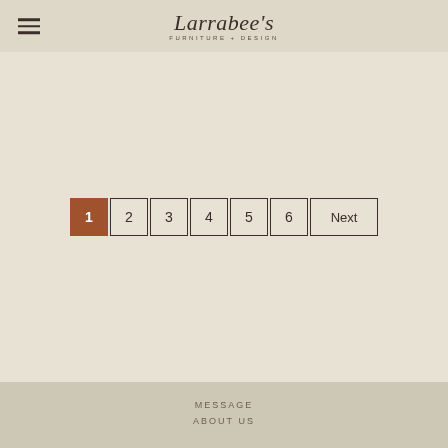Larrabee's FURNITURE+DESIGN
[Figure (other): Pagination navigation with buttons: 1 (active/highlighted in brown), 2, 3, 4, 5, 6, Next]
MESSAGE
ABOUT US